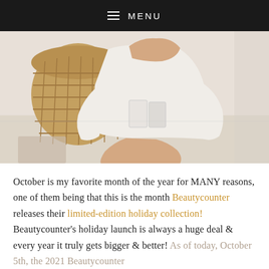≡ MENU
[Figure (photo): Woman in white long-sleeve top seated on floor with legs extended, holding what appears to be beauty products, with a wicker basket in background]
October is my favorite month of the year for MANY reasons, one of them being that this is the month Beautycounter releases their limited-edition holiday collection! Beautycounter's holiday launch is always a huge deal & every year it truly gets bigger & better! As of today, October 5th, the 2021 Beautycounter